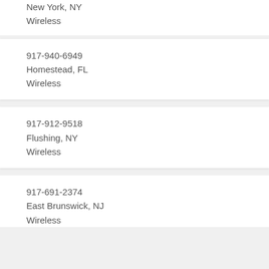New York, NY
Wireless
917-940-6949
Homestead, FL
Wireless
917-912-9518
Flushing, NY
Wireless
917-691-2374
East Brunswick, NJ
Wireless